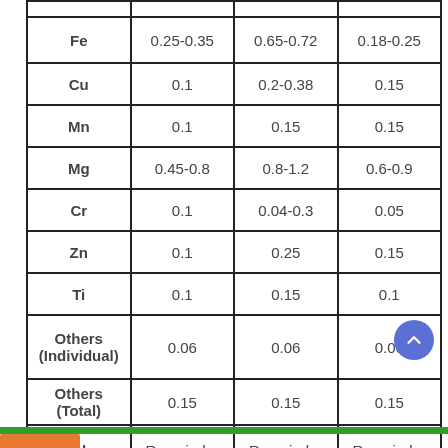|  |  |  |  |
| --- | --- | --- | --- |
| Fe | 0.25-0.35 | 0.65-0.72 | 0.18-0.25 |
| Cu | 0.1 | 0.2-0.38 | 0.15 |
| Mn | 0.1 | 0.15 | 0.15 |
| Mg | 0.45-0.8 | 0.8-1.2 | 0.6-0.9 |
| Cr | 0.1 | 0.04-0.3 | 0.05 |
| Zn | 0.1 | 0.25 | 0.15 |
| Ti | 0.1 | 0.15 | 0.1 |
| Others (Individual) | 0.06 | 0.06 | 0.06 |
| Others (Total) | 0.15 | 0.15 | 0.15 |
| Al | Remainder | Remainder | Remainder |